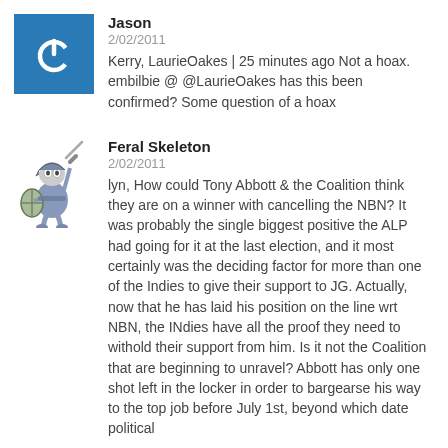[Figure (illustration): Blue square avatar with white power/on button icon]
Jason
2/02/2011
Kerry, LaurieOakes | 25 minutes ago Not a hoax. embilbie @ @LaurieOakes has this been confirmed? Some question of a hoax
[Figure (illustration): Cartoon skeleton warrior avatar holding sword and shield]
Feral Skeleton
2/02/2011
lyn, How could Tony Abbott & the Coalition think they are on a winner with cancelling the NBN? It was probably the single biggest positive the ALP had going for it at the last election, and it most certainly was the deciding factor for more than one of the Indies to give their support to JG. Actually, now that he has laid his position on the line wrt NBN, the INdies have all the proof they need to withold their support from him. Is it not the Coalition that are beginning to unravel? Abbott has only one shot left in the locker in order to bargearse his way to the top job before July 1st, beyond which date political